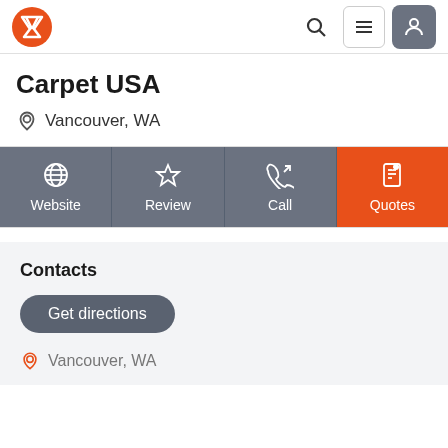Carpet USA — website header with logo, search, menu, and user icons
Carpet USA
Vancouver, WA
[Figure (infographic): Four action buttons: Website (globe icon), Review (star icon), Call (phone icon), Quotes (document icon, orange background)]
Contacts
Get directions
Vancouver, WA